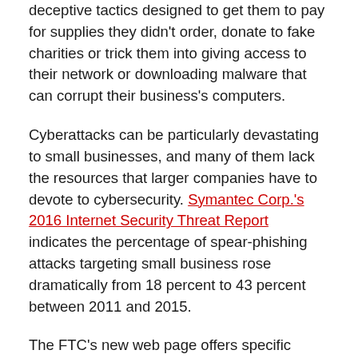deceptive tactics designed to get them to pay for supplies they didn't order, donate to fake charities or trick them into giving access to their network or downloading malware that can corrupt their business's computers.
Cyberattacks can be particularly devastating to small businesses, and many of them lack the resources that larger companies have to devote to cybersecurity. Symantec Corp.'s 2016 Internet Security Threat Report indicates the percentage of spear-phishing attacks targeting small business rose dramatically from 18 percent to 43 percent between 2011 and 2015.
The FTC's new web page offers specific information to help small businesses protect their networks and their customer data. This includes a new Small Business Computer Security Basics guide, which shares